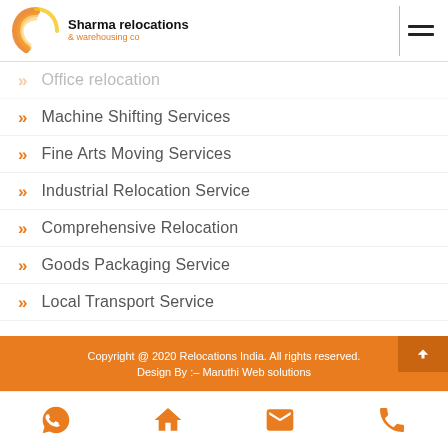[Figure (logo): Sharma relocations & warehousing co. logo with orange swirl graphic]
Office relocation
Machine Shifting Services
Fine Arts Moving Services
Industrial Relocation Service
Comprehensive Relocation
Goods Packaging Service
Local Transport Service
Copyright @ 2020 Relocations India. All rights reserved.
Design By :– Maruthi Web solutions